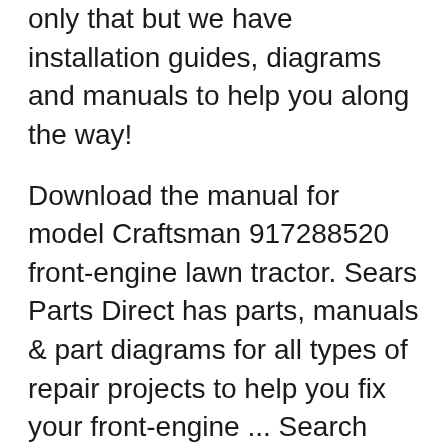only that but we have installation guides, diagrams and manuals to help you along the way!
Download the manual for model Craftsman 917288520 front-engine lawn tractor. Sears Parts Direct has parts, manuals & part diagrams for all types of repair projects to help you fix your front-engine ... Search results for 'owners manuals for craftsman model 917388861 lawn mower'
Get shopping advice from experts, friends and the community! Snow blower works great. Gas leaks out around gas cap when running/vibrating. Wanted to see if gas cap should have a